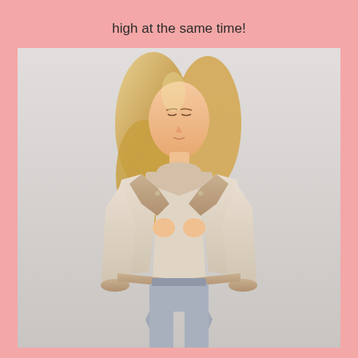high at the same time!
[Figure (photo): A blonde woman wearing a beige/cream faux shearling aviator jacket open over a beige ribbed turtleneck sweater and light gray jeans. She is holding the lapels of the jacket. The background is light gray/white. Studio fashion product photo.]